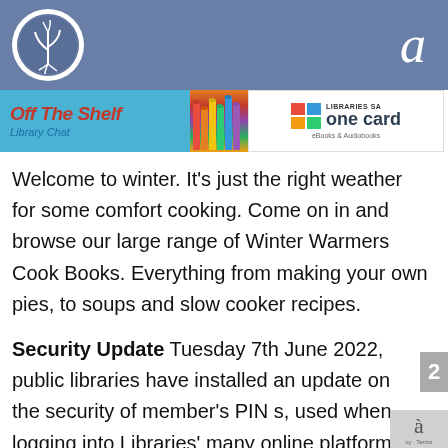[Figure (logo): School and Community Working Together circular logo with plant/wheat design, white on blue-grey header bar]
[Figure (screenshot): Off The Shelf Library Chat banner in teal/cyan, with colourful books image and Libraries SA One Card eBooks & Audiobooks logo]
Welcome to winter. It's just the right weather for some comfort cooking. Come on in and browse our large range of Winter Warmers Cook Books. Everything from making your own pies, to soups and slow cooker recipes.
Security Update  Tuesday 7th June 2022, public libraries have installed an update on the security of member's PIN s, used when logging into Libraries' many online platforms. The next time you log in as a member, you